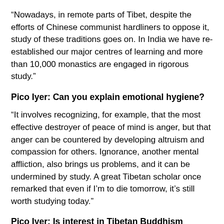“Nowadays, in remote parts of Tibet, despite the efforts of Chinese communist hardliners to oppose it, study of these traditions goes on. In India we have re-established our major centres of learning and more than 10,000 monastics are engaged in rigorous study.”
Pico Iyer: Can you explain emotional hygiene?
“It involves recognizing, for example, that the most effective destroyer of peace of mind is anger, but that anger can be countered by developing altruism and compassion for others. Ignorance, another mental affliction, also brings us problems, and it can be undermined by study. A great Tibetan scholar once remarked that even if I’m to die tomorrow, it’s still worth studying today.”
Pico Iyer: Is interest in Tibetan Buddhism growing in China?
“Yes, even among university teachers. We have published several volumes in a series entitled ‘Science and Philosophy in the Indian Buddhist Classics’ and Chinese translations have